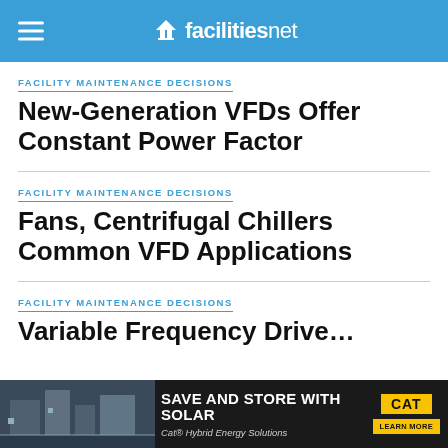facilitiesnet
FACILITY MAINTENANCE DECISIONS
New-Generation VFDs Offer Constant Power Factor
FACILITY MAINTENANCE DECISIONS
Fans, Centrifugal Chillers Common VFD Applications
FACILITY MAINTENANCE DECISIONS
Variable Frequency Drive…
[Figure (infographic): Advertisement banner: SAVE AND STORE WITH SOLAR – Cat Hybrid Energy Solutions, with LEARN MORE button and CAT logo on yellow, industrial photo background]